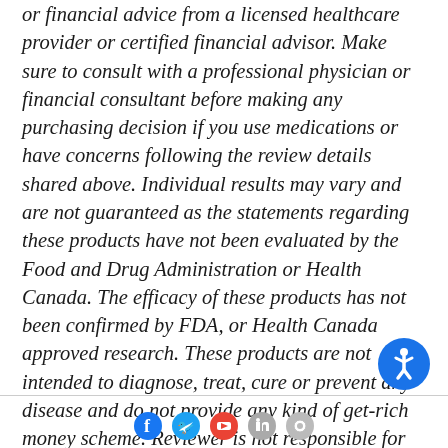or financial advice from a licensed healthcare provider or certified financial advisor. Make sure to consult with a professional physician or financial consultant before making any purchasing decision if you use medications or have concerns following the review details shared above. Individual results may vary and are not guaranteed as the statements regarding these products have not been evaluated by the Food and Drug Administration or Health Canada. The efficacy of these products has not been confirmed by FDA, or Health Canada approved research. These products are not intended to diagnose, treat, cure or prevent any disease and do not provide any kind of get-rich money scheme. Reviewer is not responsible for pricing inaccuracies. Check product sales page for final prices.
[Figure (other): Blue circular accessibility icon (wheelchair figure in circle) in bottom right corner]
[Figure (other): Social media icons row at bottom: Facebook (blue), Twitter (blue), Google/YouTube (red), LinkedIn (gray), and another gray icon]